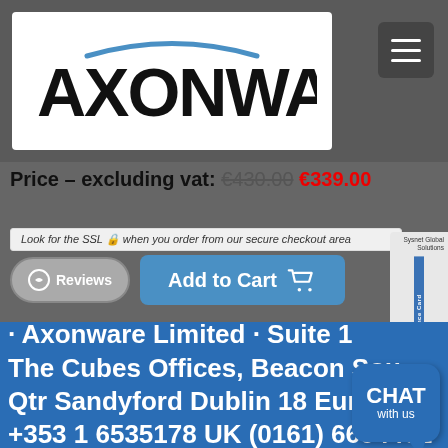[Figure (logo): Axonware logo with blue arc above brand name text]
Price - excluding vat: €430.00 €339.00
Look for the SSL 🔒 when you order from our secure checkout area
[Figure (screenshot): Reviews button and Add to Cart blue button with shopping cart icon]
[Figure (other): Sysnet Global Solutions Assurance Card side panel]
· Axonware Limited · Suite 1 The Cubes Offices, Beacon South Qtr Sandyford Dublin 18 Europe +353 1 6535178 UK (0161) 6604461
[Figure (other): Chat with us bubble button]